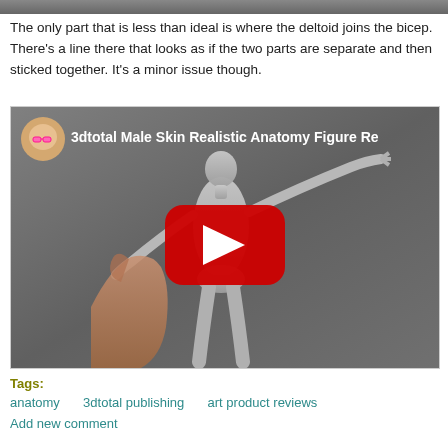[Figure (photo): Partial top strip of a photo (cropped at top of page)]
The only part that is less than ideal is where the deltoid joins the bicep. There's a line there that looks as if the two parts are separate and then sticked together. It's a minor issue though.
[Figure (screenshot): YouTube video thumbnail showing a hand holding a grey anatomical male figure sculpture. The video is titled '3dtotal Male Skin Realistic Anatomy Figure Re...' with a play button overlay and a channel avatar (baby with pink glasses) in the top-left.]
Tags:
anatomy   3dtotal publishing   art product reviews
Add new comment